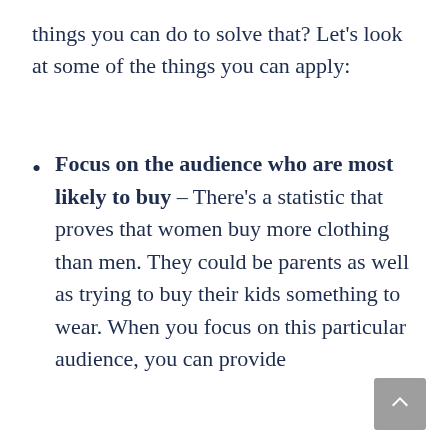things you can do to solve that? Let's look at some of the things you can apply:
Focus on the audience who are most likely to buy – There's a statistic that proves that women buy more clothing than men. They could be parents as well as trying to buy their kids something to wear. When you focus on this particular audience, you can provide